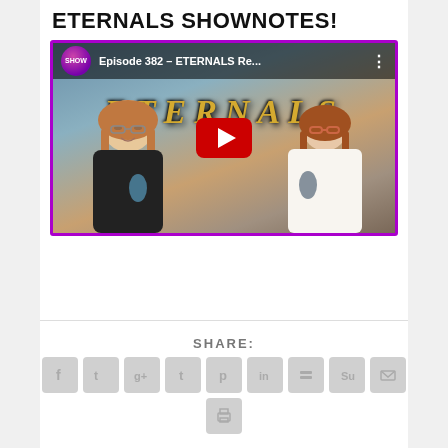ETERNALS SHOWNOTES!
[Figure (screenshot): YouTube video thumbnail for Episode 382 - ETERNALS Re... showing two podcasters in foreground with ETERNALS movie poster background and YouTube play button overlay]
SHARE:
[Figure (infographic): Row of social media sharing icon buttons: Facebook, Twitter, Google+, Tumblr, Pinterest, LinkedIn, Buffer, StumbleUpon, Email, and a printer icon below]